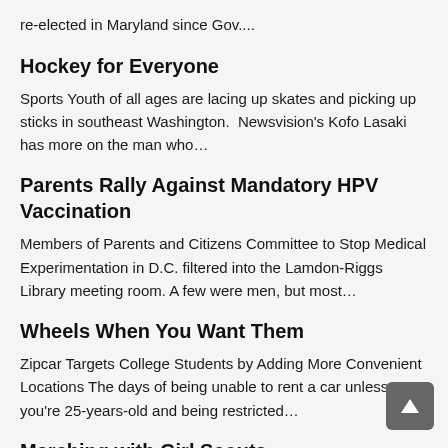re-elected in Maryland since Gov....
Hockey for Everyone
Sports Youth of all ages are lacing up skates and picking up sticks in southeast Washington.  Newsvision's Kofo Lasaki  has more on the man who…
Parents Rally Against Mandatory HPV Vaccination
Members of Parents and Citizens Committee to Stop Medical Experimentation in D.C. filtered into the Lamdon-Riggs Library meeting room. A few were men, but most…
Wheels When You Want Them
Zipcar Targets College Students by Adding More Convenient Locations The days of being unable to rent a car unless you're 25-years-old and being restricted…
Marching with Girl Scouts
Girl Scouts of the Council in the District, incorporation with the